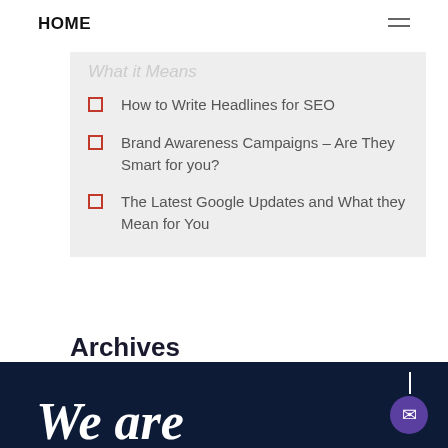HOME
How to Write Headlines for SEO
Brand Awareness Campaigns – Are They Smart for you?
The Latest Google Updates and What they Mean for You
Archives
Select Month
We are